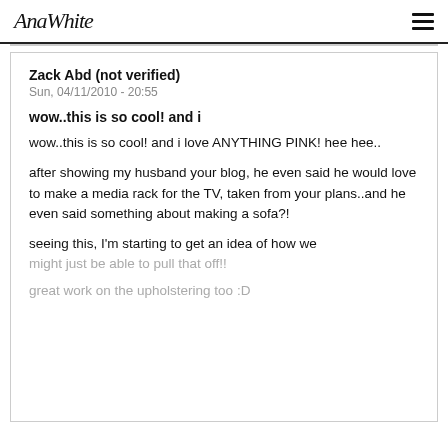AnaWhite
Zack Abd (not verified)
Sun, 04/11/2010 - 20:55
wow..this is so cool! and i
wow..this is so cool! and i love ANYTHING PINK! hee hee..
after showing my husband your blog, he even said he would love to make a media rack for the TV, taken from your plans..and he even said something about making a sofa?!
seeing this, I'm starting to get an idea of how we might just be able to pull that off!!
great work on the upholstering too :D